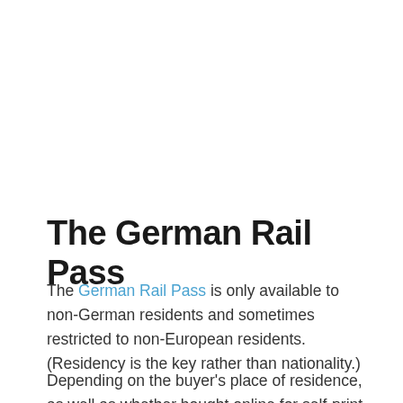The German Rail Pass
The German Rail Pass is only available to non-German residents and sometimes restricted to non-European residents. (Residency is the key rather than nationality.)
Depending on the buyer's place of residence, as well as whether bought online for self-print or as a postal delivery, the German Rail Pass pricing may vary.